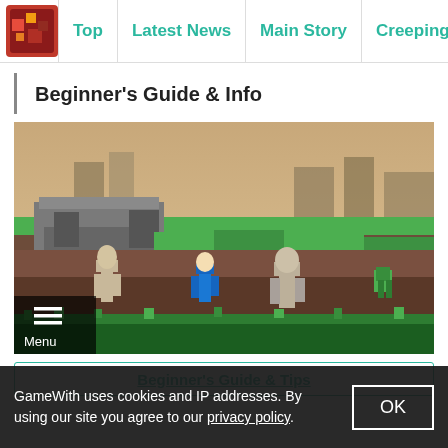Top | Latest News | Main Story | Creeping Winter | J A...
Beginner's Guide & Info
[Figure (screenshot): Minecraft Dungeons gameplay screenshot showing blocky terrain with green grass, stone structures, and game characters including skeletons, a creeper, and a player character in a 3D isometric view. A dark menu overlay with hamburger icon and 'Menu' label appears in the bottom-left corner.]
Beginner's Guide & Tips
GameWith uses cookies and IP addresses. By using our site you agree to our privacy policy.